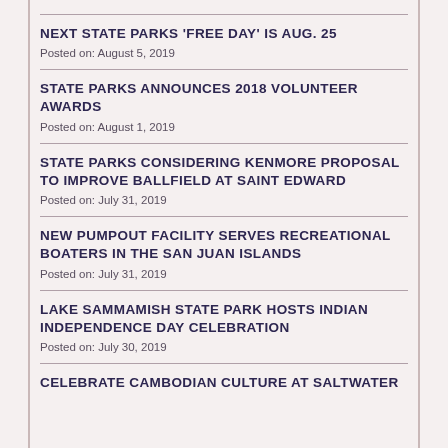NEXT STATE PARKS ‘FREE DAY’ IS AUG. 25
Posted on: August 5, 2019
STATE PARKS ANNOUNCES 2018 VOLUNTEER AWARDS
Posted on: August 1, 2019
STATE PARKS CONSIDERING KENMORE PROPOSAL TO IMPROVE BALLFIELD AT SAINT EDWARD
Posted on: July 31, 2019
NEW PUMPOUT FACILITY SERVES RECREATIONAL BOATERS IN THE SAN JUAN ISLANDS
Posted on: July 31, 2019
LAKE SAMMAMISH STATE PARK HOSTS INDIAN INDEPENDENCE DAY CELEBRATION
Posted on: July 30, 2019
CELEBRATE CAMBODIAN CULTURE AT SALTWATER